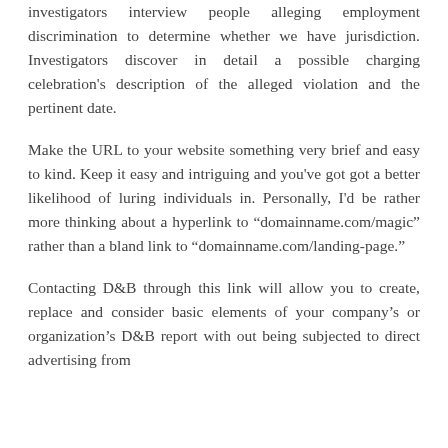investigators interview people alleging employment discrimination to determine whether we have jurisdiction. Investigators discover in detail a possible charging celebration's description of the alleged violation and the pertinent date.
Make the URL to your website something very brief and easy to kind. Keep it easy and intriguing and you've got got a better likelihood of luring individuals in. Personally, I'd be rather more thinking about a hyperlink to "domainname.com/magic" rather than a bland link to "domainname.com/landing-page."
Contacting D&B through this link will allow you to create, replace and consider basic elements of your company's or organization's D&B report with out being subjected to direct advertising from